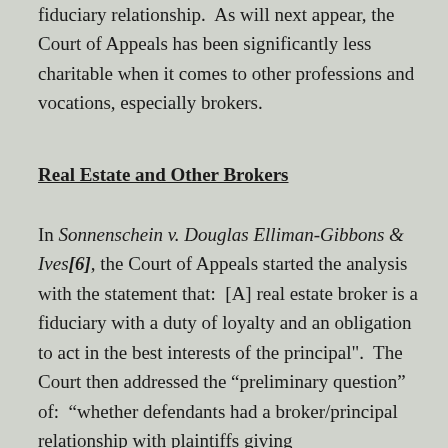fiduciary relationship.  As will next appear, the Court of Appeals has been significantly less charitable when it comes to other professions and vocations, especially brokers.
Real Estate and Other Brokers
In Sonnenschein v. Douglas Elliman-Gibbons & Ives[6], the Court of Appeals started the analysis with the statement that:  [A] real estate broker is a fiduciary with a duty of loyalty and an obligation to act in the best interests of the principal".  The Court then addressed the “preliminary question” of:  “whether defendants had a broker/principal relationship with plaintiffs giving